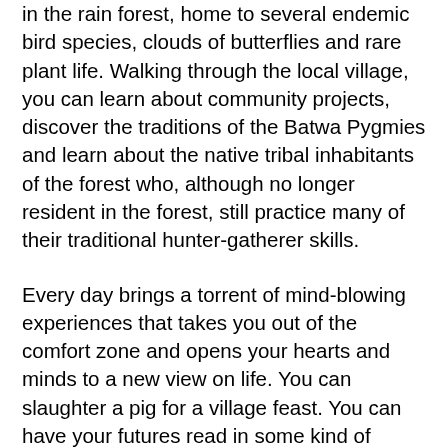in the rain forest, home to several endemic bird species, clouds of butterflies and rare plant life. Walking through the local village, you can learn about community projects, discover the traditions of the Batwa Pygmies and learn about the native tribal inhabitants of the forest who, although no longer resident in the forest, still practice many of their traditional hunter-gatherer skills.
Every day brings a torrent of mind-blowing experiences that takes you out of the comfort zone and opens your hearts and minds to a new view on life. You can slaughter a pig for a village feast. You can have your futures read in some kind of mysterious leaves. You can help repair a remote school.
You can play soccer with local children on a top-of-the-world football pitch, sharing the unspoken joy of friendly competition. A local shaman can accompanied you, serving as a spiritual guide and performing sacred rituals to bless and cleanse your eager